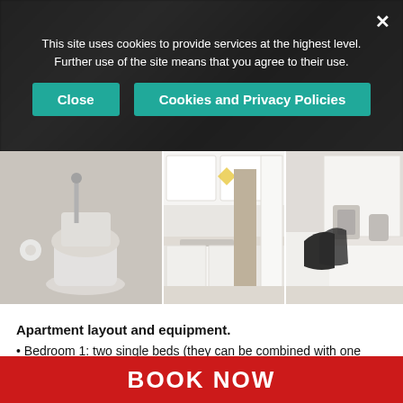This site uses cookies to provide services at the highest level. Further use of the site means that you agree to their use.
Close | Cookies and Privacy Policies
[Figure (photo): Three apartment interior photos side by side: bathroom with toilet, kitchen with white cabinets and sink, and another kitchen/living area view]
Apartment layout and equipment.
Bedroom 1: two single beds (they can be combined with one large bed). Landmark view.
Bedroom 2: one sofa bed. Balcony with landmark view.
Bedroom 3: one sofa bed and one single bed. Quiet backyard
BOOK NOW